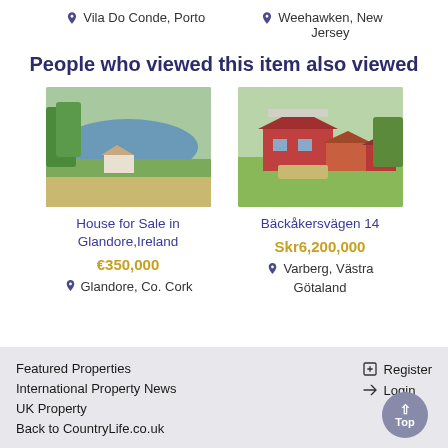Vila Do Conde, Porto   Weehawken, New Jersey
People who viewed this item also viewed
[Figure (photo): Aerial photo of house for sale in Glandore, Ireland near a lake]
House for Sale in Glandore,Ireland
€350,000
Glandore, Co. Cork
[Figure (photo): Aerial photo of Bäckåkersvägen 14, a red Swedish property with surrounding lawn]
Bäckåkersvägen 14
Skr6,200,000
Varberg, Västra Götaland
Featured Properties  International Property News  UK Property  Back to CountryLife.co.uk  Register  Login  Top